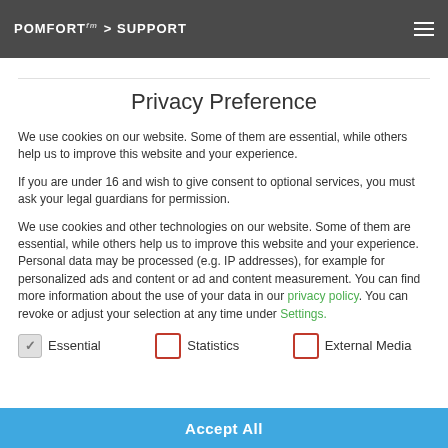POMFORT > SUPPORT
Privacy Preference
We use cookies on our website. Some of them are essential, while others help us to improve this website and your experience.
If you are under 16 and wish to give consent to optional services, you must ask your legal guardians for permission.
We use cookies and other technologies on our website. Some of them are essential, while others help us to improve this website and your experience. Personal data may be processed (e.g. IP addresses), for example for personalized ads and content or ad and content measurement. You can find more information about the use of your data in our privacy policy. You can revoke or adjust your selection at any time under Settings.
Essential
Statistics
External Media
Accept All